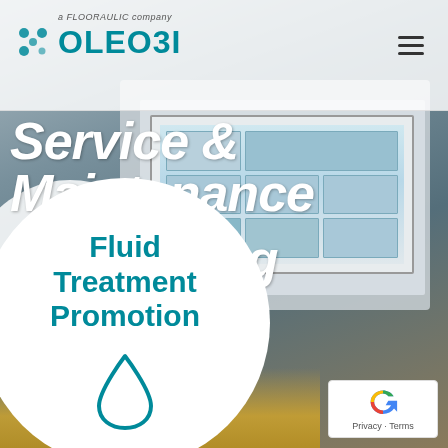[Figure (screenshot): Industrial control system screenshot showing a worker in a white helmet and an industrial computer display with control panels and schematics in the background.]
a FLOORAULIC company
[Figure (logo): Oleobi logo - a FLOORAULIC company, with teal gear/dot icon and OLEOBI text]
Service & Maintenance
Envisaging money saving
Fluid Treatment Promotion
[Figure (illustration): Water droplet icon in teal outline style inside white circle]
[Figure (other): reCAPTCHA badge with Privacy and Terms links]